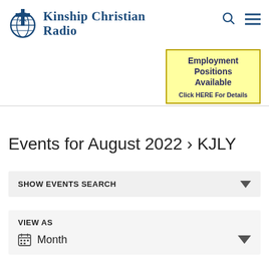[Figure (logo): Kinship Christian Radio logo with cross and globe icon]
[Figure (infographic): Employment Positions Available – Click HERE For Details (yellow box with dark blue border)]
Events for August 2022 › KJLY
SHOW EVENTS SEARCH
VIEW AS
Month